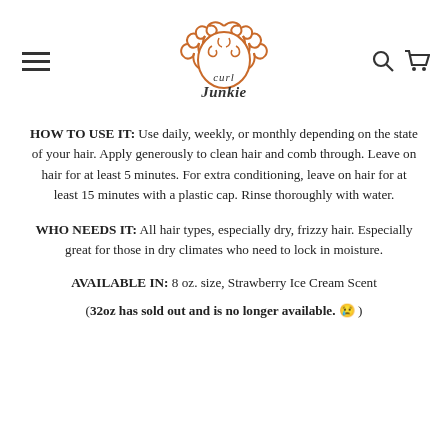[Figure (logo): Curl Junkie logo with curly hair illustration in orange/copper color above the text 'Curl Junkie' in stylized font]
HOW TO USE IT: Use daily, weekly, or monthly depending on the state of your hair. Apply generously to clean hair and comb through. Leave on hair for at least 5 minutes. For extra conditioning, leave on hair for at least 15 minutes with a plastic cap. Rinse thoroughly with water.
WHO NEEDS IT: All hair types, especially dry, frizzy hair. Especially great for those in dry climates who need to lock in moisture.
AVAILABLE IN: 8 oz. size, Strawberry Ice Cream Scent
(32oz has sold out and is no longer available. 😢 )